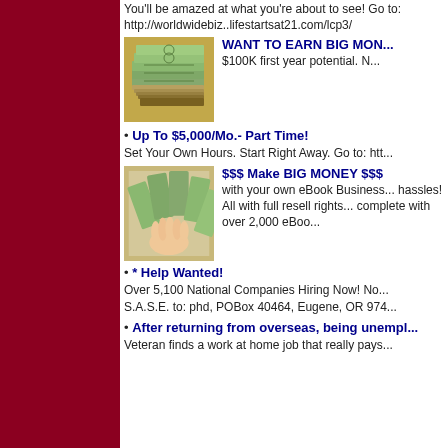You'll be amazed at what you're about to see! Go to: http://worldwidebiz..lifestartsat21.com/lcp3/
[Figure (photo): Stack of US dollar bills]
WANT TO EARN BIG MON... $100K first year potential. N...
Up To $5,000/Mo.- Part Time!
Set Your Own Hours. Start Right Away. Go to: htt...
[Figure (photo): Hand holding fanned out US dollar bills]
$$$ Make BIG MONEY $$$ with your own eBook Business... hassles! All with full resell rights... complete with over 2,000 eBoo...
* Help Wanted!
Over 5,100 National Companies Hiring Now! No... S.A.S.E. to: phd, POBox 40464, Eugene, OR 974...
After returning from overseas, being unempl...
Veteran finds a work at home job that really pays...